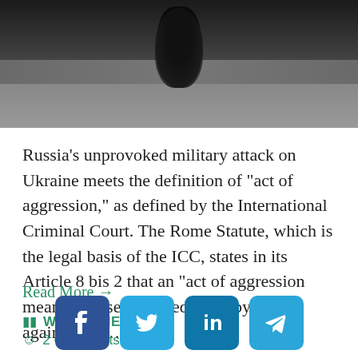[Figure (photo): A dark photograph showing what appears to be a person in black clothing on a street, viewed from above or at an angle. The scene has a dark, overcast urban setting.]
Russia’s unprovoked military attack on Ukraine meets the definition of “act of aggression,” as defined by the International Criminal Court. The Rome Statute, which is the legal basis of the ICC, states in its Article 8 bis 2 that an “act of aggression means the use of armed force by a State against the …
Read More →
WORLDVIEWS
2 Comments
[Figure (other): Social media share buttons: Facebook, Twitter, LinkedIn, Telegram]